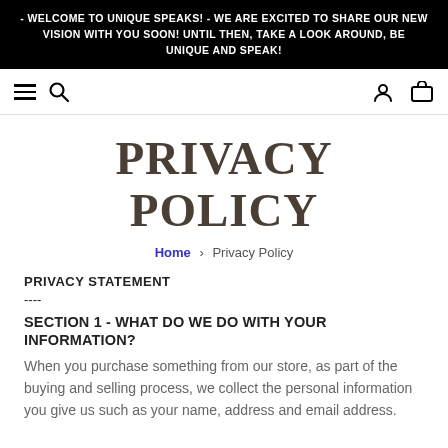- WELCOME TO UNIQUE SPEAKS! - WE ARE EXCITED TO SHARE OUR NEW VISION WITH YOU SOON! UNTIL THEN, TAKE A LOOK AROUND, BE UNIQUE AND SPEAK!
PRIVACY POLICY
Home > Privacy Policy
PRIVACY STATEMENT
----
SECTION 1 - WHAT DO WE DO WITH YOUR INFORMATION?
When you purchase something from our store, as part of the buying and selling process, we collect the personal information you give us such as your name, address and email address.